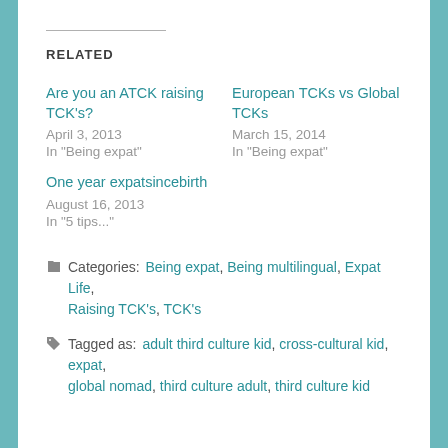RELATED
Are you an ATCK raising TCK's?
April 3, 2013
In "Being expat"
European TCKs vs Global TCKs
March 15, 2014
In "Being expat"
One year expatsincebirth
August 16, 2013
In "5 tips..."
Categories: Being expat, Being multilingual, Expat Life, Raising TCK's, TCK's
Tagged as: adult third culture kid, cross-cultural kid, expat, global nomad, third culture adult, third culture kid